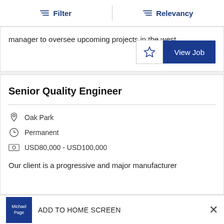Filter   Relevancy
manager to oversee upcoming projects in the west
Senior Quality Engineer
Oak Park
Permanent
USD80,000 - USD100,000
Our client is a progressive and major manufacturer
ADD TO HOME SCREEN